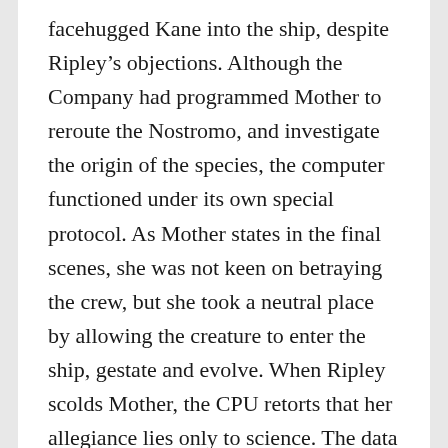facehugged Kane into the ship, despite Ripley's objections. Although the Company had programmed Mother to reroute the Nostromo, and investigate the origin of the species, the computer functioned under its own special protocol. As Mother states in the final scenes, she was not keen on betraying the crew, but she took a neutral place by allowing the creature to enter the ship, gestate and evolve. When Ripley scolds Mother, the CPU retorts that her allegiance lies only to science. The data for this “key-product” would be fascinating for the scientific world. The producers and writers finally realized that this revelation would be too reminiscent of HAL 9000 in 2001: A Space Odyssey (1968). They kept Mother as the CPU, but incorporated Ash as the seventh and final